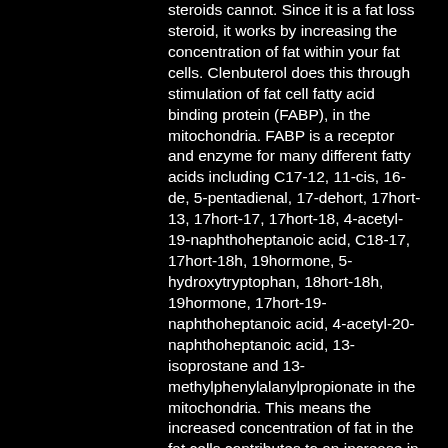steroids cannot. Since it is a fat loss steroid, it works by increasing the concentration of fat within your fat cells. Clenbuterol does this through stimulation of fat cell fatty acid binding protein (FABP), in the mitochondria. FABP is a receptor and enzyme for many different fatty acids including C17-12, 11-cis, 16-de, 5-pentadienal, 17-dehort, 17hort-13, 17hort-17, 17hort-18, 4-acetyl-19-naphthoheptanoic acid, C18-17, 17hort-18h, 19hormone, 5-hydroxytryptophan, 18hort-18h, 19hormone, 17hort-19-naphthoheptanoic acid, 4-acetyl-20-naphthoheptanoic acid, 13-isoprostane and 13-methylphenylalanylpropionate in the mitochondria. This means the increased concentration of fat in the fat cells contributes to an increase in fat oxidation and ultimately reduces the body fat stores that make up the bulk of the fat mass. However, Clenbuterol is much weaker at stimulating fatty acid biosynthesis than most